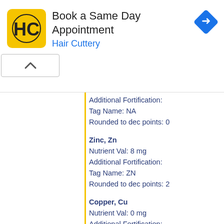[Figure (screenshot): Advertisement banner for Hair Cuttery: Book a Same Day Appointment, with yellow HC logo and blue navigation arrow icon, plus ad controls (play and close buttons)]
Additional Fortification:
Tag Name: NA
Rounded to dec points: 0
Zinc, Zn
Nutrient Val: 8 mg
Additional Fortification:
Tag Name: ZN
Rounded to dec points: 2
Copper, Cu
Nutrient Val: 0 mg
Additional Fortification:
Tag Name: CU
Rounded to dec points: 3
Manganese, Mn
Nutrient Val: 0 mg
Additional Fortification:
Tag Name: MN
Rounded to dec points: 3